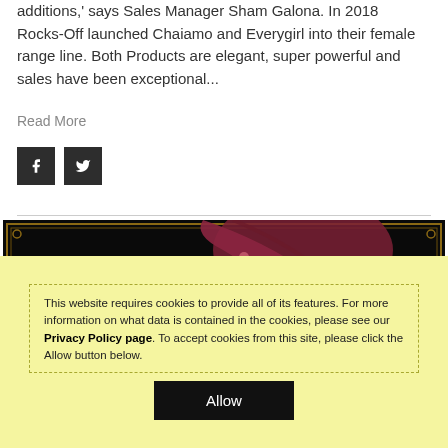additions,' says Sales Manager Sham Galona. In 2018 Rocks-Off launched Chaiamo and Everygirl into their female range line. Both Products are elegant, super powerful and sales have been exceptional...
Read More
[Figure (other): Social share buttons: Facebook and Twitter icons in dark square buttons]
[Figure (photo): Octopus tentacles on black background with decorative gold frame border]
This website requires cookies to provide all of its features. For more information on what data is contained in the cookies, please see our Privacy Policy page. To accept cookies from this site, please click the Allow button below.
Allow